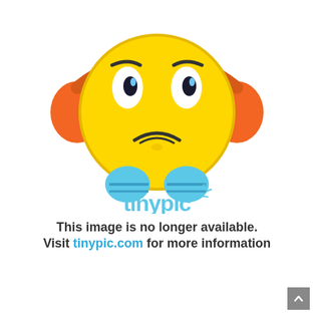[Figure (illustration): Tinypic placeholder image: a yellow sad-face emoji with orange headphones and blue collar, above the tinypic logo, with text 'This image is no longer available. Visit tinypic.com for more information']